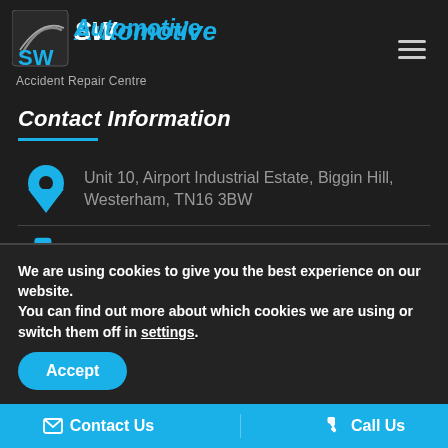[Figure (logo): SW Automotive Accident Repair Centre logo with swoosh graphic and blue text]
Contact Information
Unit 10, Airport Industrial Estate, Biggin Hill, Westerham, TN16 3BW
01959 576 827
We are using cookies to give you the best experience on our website.
You can find out more about which cookies we are using or switch them off in settings.
Accept
Contact Us   Call Us